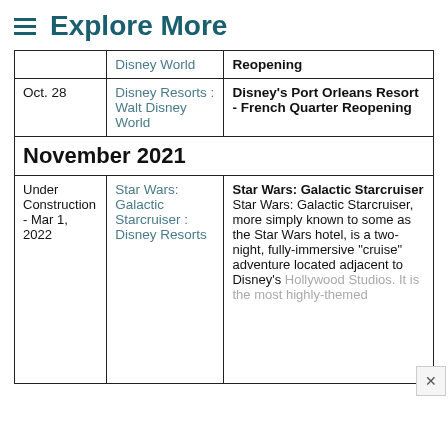≡ Explore More
|  | Disney World | Reopening |
| --- | --- | --- |
| Oct. 28 | Disney Resorts : Walt Disney World | Disney's Port Orleans Resort - French Quarter Reopening |
| November 2021 |  |  |
| Under Construction - Mar 1, 2022 | Star Wars: Galactic Starcruiser : Disney Resorts | Star Wars: Galactic Starcruiser Star Wars: Galactic Starcruiser, more simply known to some as the Star Wars hotel, is a two-night, fully-immersive "cruise" adventure located adjacent to Disney's Hollywood Studios. It is the most highly-themed... |